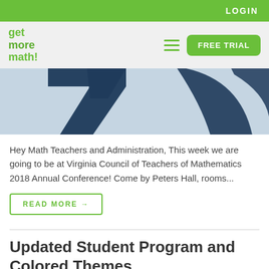LOGIN
[Figure (logo): Get More Math logo — green bold text reading 'get more math!' in three lines]
[Figure (screenshot): Partial view of a dark navy blue logo/graphic with large letter V shapes visible]
Hey Math Teachers and Administration, This week we are going to be at Virginia Council of Teachers of Mathematics 2018 Annual Conference! Come by Peters Hall, rooms...
READ MORE →
Updated Student Program and Colored Themes